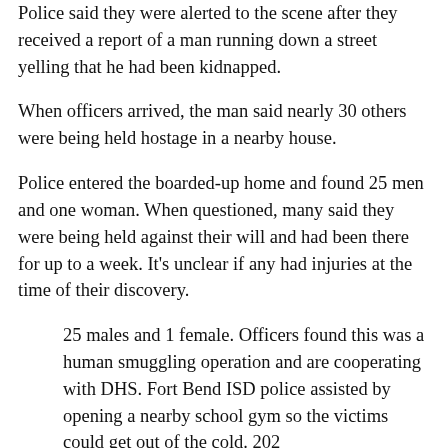Police said they were alerted to the scene after they received a report of a man running down a street yelling that he had been kidnapped.
When officers arrived, the man said nearly 30 others were being held hostage in a nearby house.
Police entered the boarded-up home and found 25 men and one woman. When questioned, many said they were being held against their will and had been there for up to a week. It's unclear if any had injuries at the time of their discovery.
25 males and 1 female. Officers found this was a human smuggling operation and are cooperating with DHS. Fort Bend ISD police assisted by opening a nearby school gym so the victims could get out of the cold. 202